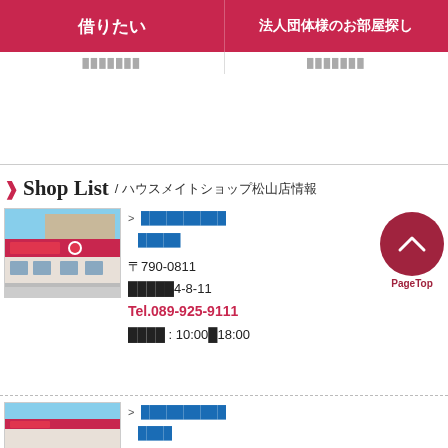借りたい　法人団体様のお部屋探し
Shop List / ハウスメイトショップ松山店情報
[Figure (photo): Exterior photo of House Mate shop with red signage]
> リンクテキスト
 リンクテキスト
〒790-0811
愛媛県松山市4-8-11
Tel.089-925-9111
営業時間 : 10:00〜18:00
[Figure (photo): Exterior photo of House Mate shop 2 with red signage]
> リンクテキスト
 リンク